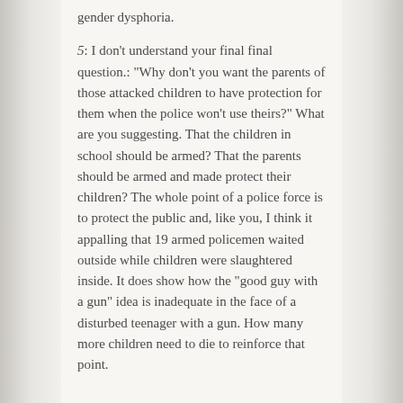gender dysphoria.
5: I don't understand your final final question.: “Why don’t you want the parents of those attacked children to have protection for them when the police won’t use theirs?” What are you suggesting. That the children in school should be armed? That the parents should be armed and made protect their children? The whole point of a police force is to protect the public and, like you, I think it appalling that 19 armed policemen waited outside while children were slaughtered inside. It does show how the “good guy with a gun” idea is inadequate in the face of a disturbed teenager with a gun. How many more children need to die to reinforce that point.